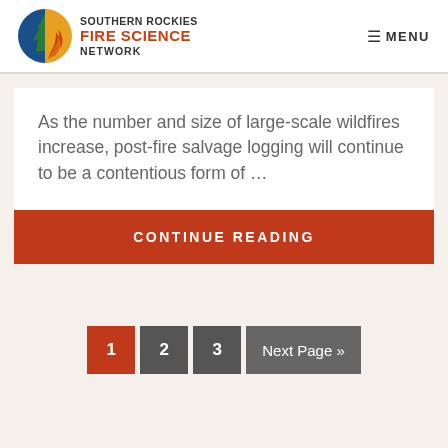SOUTHERN ROCKIES FIRE SCIENCE NETWORK  ≡ MENU
As the number and size of large-scale wildfires increase, post-fire salvage logging will continue to be a contentious form of …
CONTINUE READING
1  2  3  Next Page »